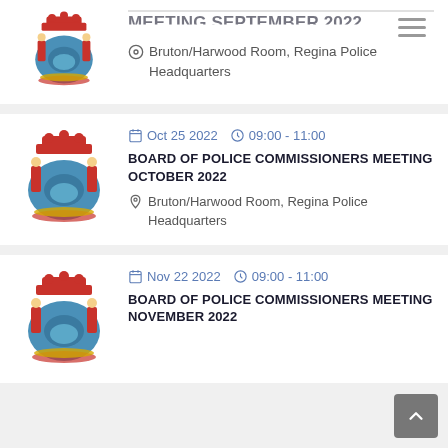[Figure (logo): Regina Police Service coat of arms logo (partial, cropped at top)]
MEETING SEPTEMBER 2022 (partial, cropped)
Bruton/Harwood Room, Regina Police Headquarters
[Figure (logo): Regina Police Service coat of arms logo]
Oct 25 2022  09:00 - 11:00
BOARD OF POLICE COMMISSIONERS MEETING OCTOBER 2022
Bruton/Harwood Room, Regina Police Headquarters
[Figure (logo): Regina Police Service coat of arms logo]
Nov 22 2022  09:00 - 11:00
BOARD OF POLICE COMMISSIONERS MEETING NOVEMBER 2022